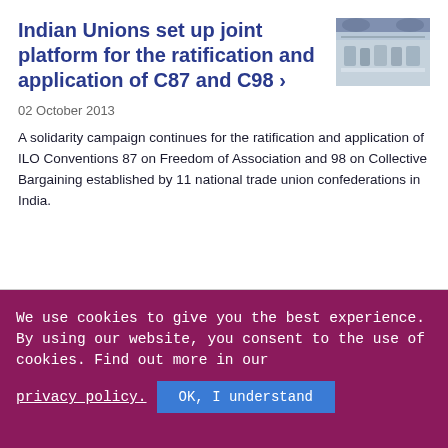Indian Unions set up joint platform for the ratification and application of C87 and C98 ›
[Figure (photo): Group of people seated at a conference table in a formal meeting room with arched windows]
02 October 2013
A solidarity campaign continues for the ratification and application of ILO Conventions 87 on Freedom of Association and 98 on Collective Bargaining established by 11 national trade union confederations in India.
The ILO – Bureau for Workers' Activities (ACTRAV) and the Trade Unions in India ›
We use cookies to give you the best experience. By using our website, you consent to the use of cookies. Find out more in our privacy policy.  OK, I understand